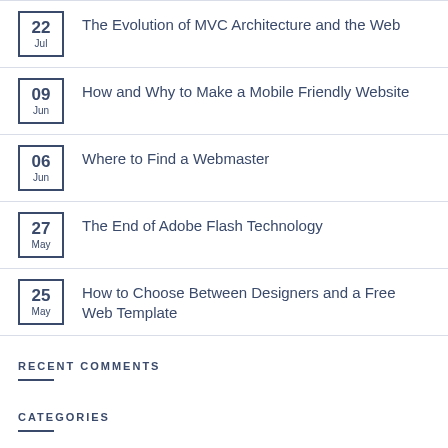22 Jul — The Evolution of MVC Architecture and the Web
09 Jun — How and Why to Make a Mobile Friendly Website
06 Jun — Where to Find a Webmaster
27 May — The End of Adobe Flash Technology
25 May — How to Choose Between Designers and a Free Web Template
RECENT COMMENTS
CATEGORIES
Social Media (1)